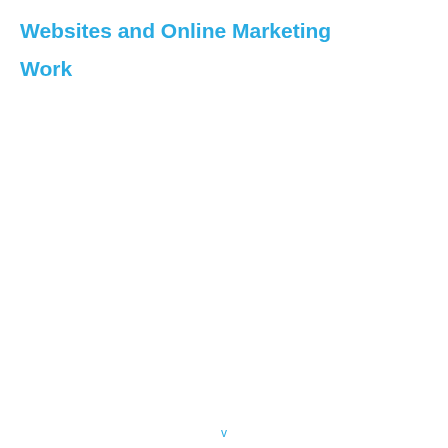Websites and Online Marketing
Work
v